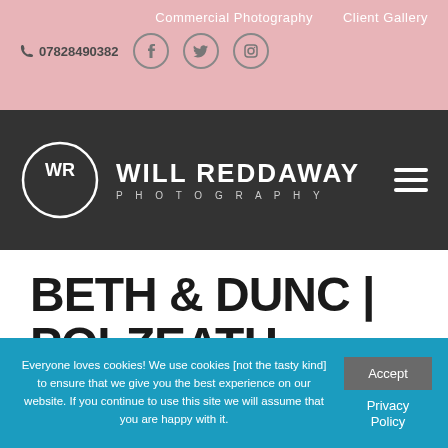Commercial Photography  Client Gallery
07828490382
[Figure (logo): Will Reddaway Photography logo — WR in a circle with WILL REDDAWAY PHOTOGRAPHY text]
BETH & DUNC | POLZEATH WEDDING |
Everyone loves cookies! We use cookies [not the tasty kind] to ensure that we give you the best experience on our website. If you continue to use this site we will assume that you are happy with it.